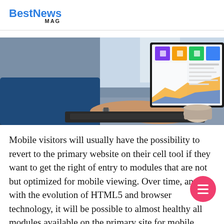BestNews MAG
[Figure (photo): Person typing on a laptop keyboard with a dashboard/analytics screen visible on the monitor, coffee cup nearby]
Mobile visitors will usually have the possibility to revert to the primary website on their cell tool if they want to get the right of entry to modules that are not but optimized for mobile viewing. Over time, and with the evolution of HTML5 and browser technology, it will be possible to almost healthy all modules available on the primary site for mobile viewings, such as complex modules like video